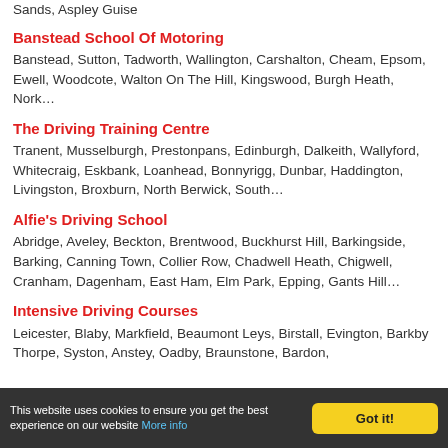Sands, Aspley Guise
Banstead School Of Motoring
Banstead, Sutton, Tadworth, Wallington, Carshalton, Cheam, Epsom, Ewell, Woodcote, Walton On The Hill, Kingswood, Burgh Heath, Nork…
The Driving Training Centre
Tranent, Musselburgh, Prestonpans, Edinburgh, Dalkeith, Wallyford, Whitecraig, Eskbank, Loanhead, Bonnyrigg, Dunbar, Haddington, Livingston, Broxburn, North Berwick, South…
Alfie's Driving School
Abridge, Aveley, Beckton, Brentwood, Buckhurst Hill, Barkingside, Barking, Canning Town, Collier Row, Chadwell Heath, Chigwell, Cranham, Dagenham, East Ham, Elm Park, Epping, Gants Hill…
Intensive Driving Courses
Leicester, Blaby, Markfield, Beaumont Leys, Birstall, Evington, Barkby Thorpe, Syston, Anstey, Oadby, Braunstone, Bardon,…
This website uses cookies to ensure you get the best experience on our website More info | Got it!